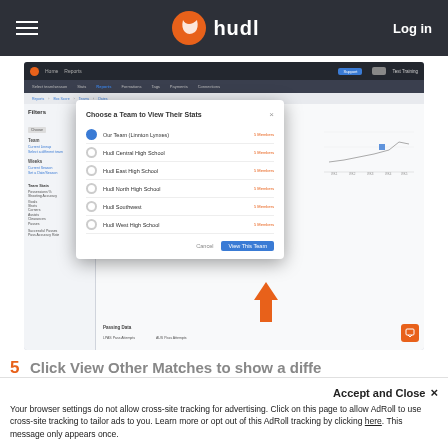hudl  Log in
[Figure (screenshot): Screenshot of Hudl web application showing a 'Choose a Team to View Their Stats' modal dialog with team options: Our Team (Linnton Lynxes), Hudl Central High School, Hudl East High School, Hudl North High School, Hudl Southwest, Hudl West High School. An orange arrow points to the 'View This Team' button.]
5  Click View Other Matches to show a diffe
Accept and Close ×
Your browser settings do not allow cross-site tracking for advertising. Click on this page to allow AdRoll to use cross-site tracking to tailor ads to you. Learn more or opt out of this AdRoll tracking by clicking here. This message only appears once.